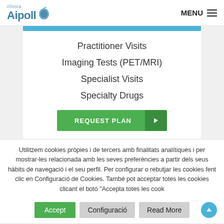Clínica Ripoll — MENU
Practitioner Visits
Imaging Tests (PET/MRI)
Specialist Visits
Specialty Drugs
REQUEST PLAN
Utilitzem cookies pròpies i de tercers amb finalitats analítiques i per mostrar-les relacionada amb les seves preferències a partir dels seus hàbits de navegació i el seu perfil. Per configurar o rebutjar les cookies fent clic en Configuració de Cookies. També pot acceptar totes les cookies clicant el botó "Accepta totes les cook
Accept | Configuració | Read More